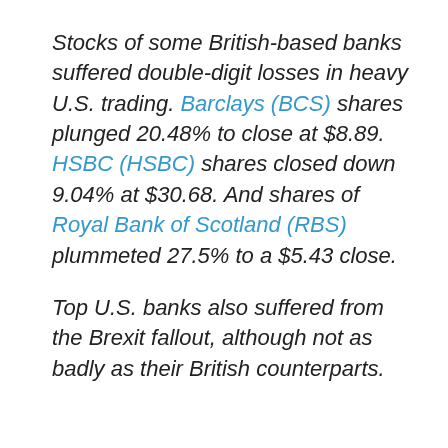Stocks of some British-based banks suffered double-digit losses in heavy U.S. trading. Barclays (BCS) shares plunged 20.48% to close at $8.89. HSBC (HSBC) shares closed down 9.04% at $30.68. And shares of Royal Bank of Scotland (RBS) plummeted 27.5% to a $5.43 close.
Top U.S. banks also suffered from the Brexit fallout, although not as badly as their British counterparts.